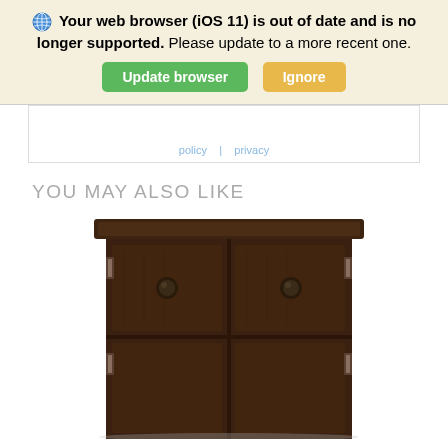Your web browser (iOS 11) is out of date and is no longer supported. Please update to a more recent one. [Update browser] [Ignore]
[Figure (screenshot): Partial webpage content area with faint text and border, showing a cropped web page below the browser warning banner]
YOU MAY ALSO LIKE
[Figure (photo): Dark brown wooden dresser or cabinet with four panels/drawers, two round black knobs on upper drawers, and side hinges, on white background]